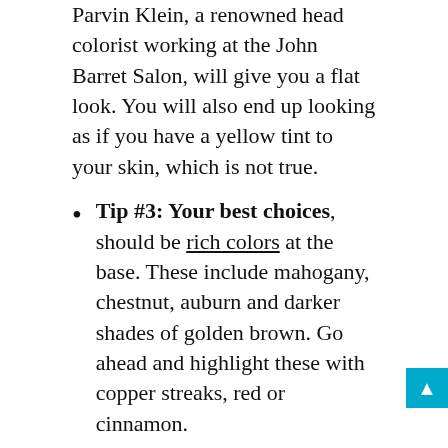Parvin Klein, a renowned head colorist working at the John Barret Salon, will give you a flat look. You will also end up looking as if you have a yellow tint to your skin, which is not true.
Tip #3: Your best choices, should be rich colors at the base. These include mahogany, chestnut, auburn and darker shades of golden brown. Go ahead and highlight these with copper streaks, red or cinnamon.
These are very general guidelines, but the whole idea is to make you accentuate your undertones as well as the color of your eyes. Green eyed girls with warm skins are bright to look at and that is what your hair should be helping you achieve.